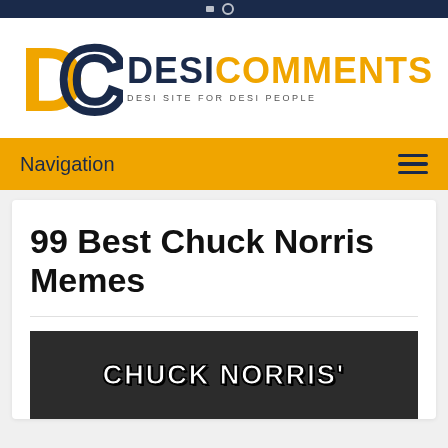[Figure (logo): DesiComments logo with large DC letters and text 'DESI COMMENTS - DESI SITE FOR DESI PEOPLE']
Navigation
99 Best Chuck Norris Memes
[Figure (photo): Chuck Norris meme image with text 'CHUCK NORRIS']